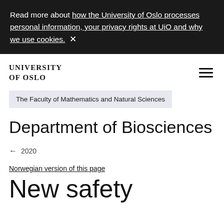Read more about how the University of Oslo processes personal information, your privacy rights at UiO and why we use cookies. ×
UNIVERSITY OF OSLO
The Faculty of Mathematics and Natural Sciences
Department of Biosciences
← 2020
Norwegian version of this page
New safety